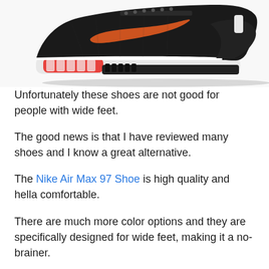[Figure (photo): Cropped photo of a Nike Air Max sneaker, black and white colorway with red air bubble sole and orange Nike swoosh, shown from the side on a white background.]
Unfortunately these shoes are not good for people with wide feet.
The good news is that I have reviewed many shoes and I know a great alternative.
The Nike Air Max 97 Shoe is high quality and hella comfortable.
There are much more color options and they are specifically designed for wide feet, making it a no-brainer.
They are best used for weightlifting, running,